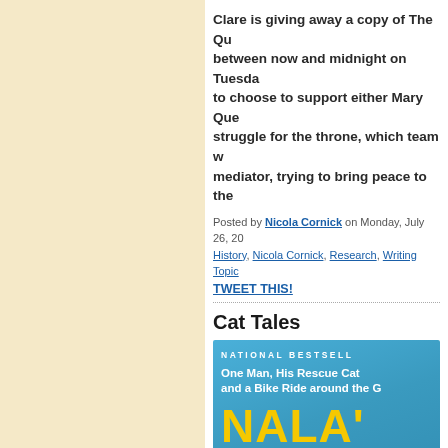Clare is giving away a copy of The Qu... between now and midnight on Tuesda... to choose to support either Mary Que... struggle for the throne, which team w... mediator, trying to bring peace to the...
Posted by Nicola Cornick on Monday, July 26, 20... History, Nicola Cornick, Research, Writing Topic...
TWEET THIS!
Cat Tales
[Figure (photo): Book cover of Nala's World - National Bestseller. One Man, His Rescue Cat and a Bike Ride around the G... Large yellow text reads NALA'S WORL... on a blue gradient background.]